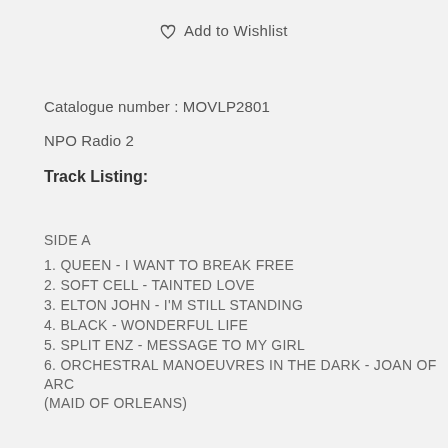♡ Add to Wishlist
Catalogue number : MOVLP2801
NPO Radio 2
Track Listing:
SIDE A
1. QUEEN - I WANT TO BREAK FREE
2. SOFT CELL - TAINTED LOVE
3. ELTON JOHN - I'M STILL STANDING
4. BLACK - WONDERFUL LIFE
5. SPLIT ENZ - MESSAGE TO MY GIRL
6. ORCHESTRAL MANOEUVRES IN THE DARK - JOAN OF ARC (MAID OF ORLEANS)